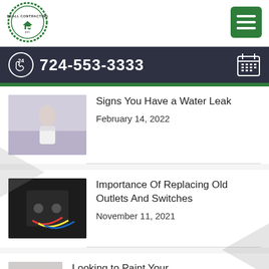[Figure (logo): Beall Contracting circular logo with green gear border]
[Figure (other): Green hamburger/menu button with three white lines]
724-553-3333
Signs You Have a Water Leak
February 14, 2022
Importance Of Replacing Old Outlets And Switches
November 11, 2021
Looking to Paint Your